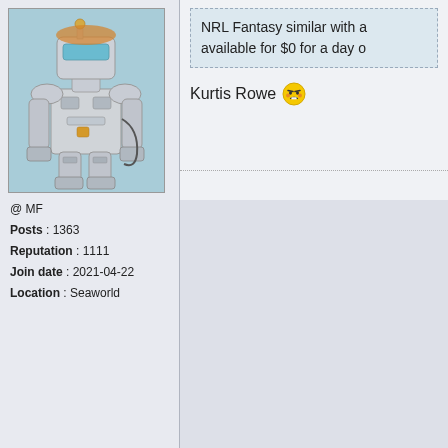[Figure (illustration): Robot/mech avatar illustration with teal/light blue background]
@ MF
Posts : 1363
Reputation : 1111
Join date : 2021-04-22
Location : Seaworld
NRL Fantasy similar with a... available for $0 for a day o...
Kurtis Rowe
TOP
Re: NRL Fantasy 2022 Part 57 - No...
by filthridden Thu 16 Jun 2022 - 23...
filthridden
[Figure (photo): Photo of sports/football boots (soccer cleats) - black Adidas shoes on carpet]
Kodi would have low JS in the... Volkman might not score as w...